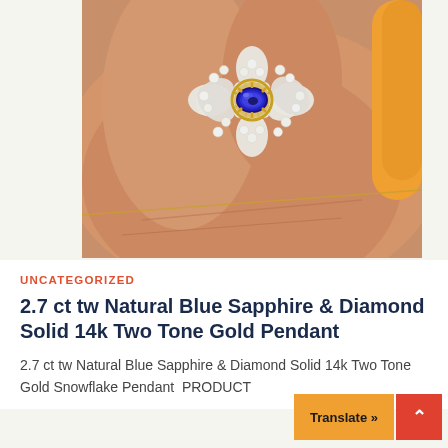[Figure (photo): Close-up photo of a hand holding a 2.7 ct tw Natural Blue Sapphire & Diamond Solid 14k Two Tone Gold Snowflake Pendant. The pendant features a large oval blue sapphire center stone surrounded by a halo of round diamonds arranged in a snowflake/starburst pattern. The person holding it has an orange/yellow painted fingernail visible at the right edge.]
UNCATEGORIZED
2.7 ct tw Natural Blue Sapphire & Diamond Solid 14k Two Tone Gold Pendant
2.7 ct tw Natural Blue Sapphire & Diamond Solid 14k Two Tone Gold Snowflake Pendant  PRODUCT